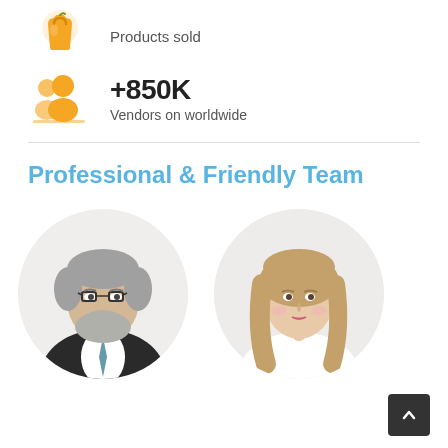[Figure (illustration): Yellow apple/shopping bag icon]
Products sold
[Figure (illustration): Yellow group/vendors icon with two people silhouettes]
+850K
Vendors on worldwide
Professional & Friendly Team
[Figure (photo): Circular photo of older man with grey beard and glasses wearing suit and tie]
[Figure (photo): Circular photo of young woman with long blonde hair smiling]